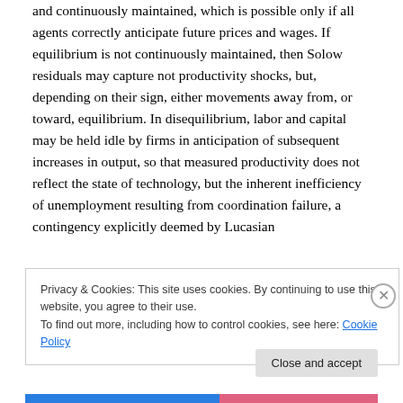and continuously maintained, which is possible only if all agents correctly anticipate future prices and wages. If equilibrium is not continuously maintained, then Solow residuals may capture not productivity shocks, but, depending on their sign, either movements away from, or toward, equilibrium. In disequilibrium, labor and capital may be held idle by firms in anticipation of subsequent increases in output, so that measured productivity does not reflect the state of technology, but the inherent inefficiency of unemployment resulting from coordination failure, a contingency explicitly deemed by Lucasian
Privacy & Cookies: This site uses cookies. By continuing to use this website, you agree to their use. To find out more, including how to control cookies, see here: Cookie Policy
Close and accept